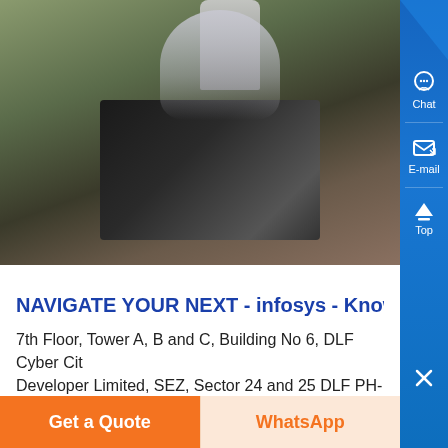[Figure (screenshot): Outdoor video thumbnail showing a dark burned/charred structure on the ground with smoke/steam rising and a person in light-colored clothing visible in the background]
NAVIGATE YOUR NEXT - infosys - Know Mo
7th Floor, Tower A, B and C, Building No 6, DLF Cyber City Developer Limited, SEZ, Sector 24 and 25 DLF PH-3, Gurugram 122 018 Uniworld Uniworld Towers, Tower B,
Get a Quote
WhatsApp